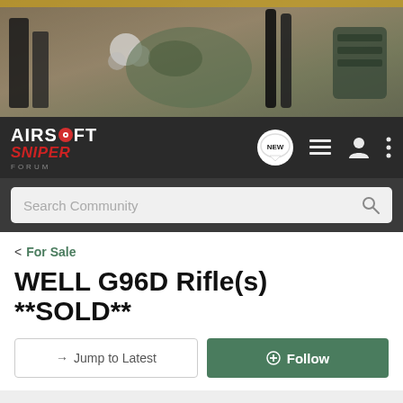[Figure (photo): Airsoft equipment hero banner image showing magazines, BBs, camo cloth, and gun accessories on a sandy/burlap surface]
[Figure (logo): Airsoft Sniper Forum logo in white and red on dark navbar, with navigation icons: NEW chat bubble, list icon, user icon, and three-dots menu]
[Figure (screenshot): Search Community input bar with magnifying glass icon on dark background]
< For Sale
WELL G96D Rifle(s) **SOLD**
→ Jump to Latest
+ Follow
Not open for further replies.
1 - 13 of 13 Posts